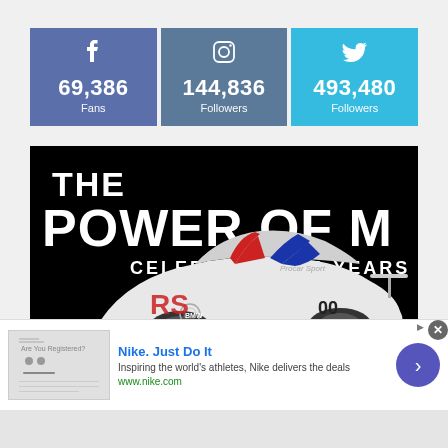[Figure (infographic): Three social media stat boxes: Facebook 69,386 Fans; Instagram 144,836 Followers; Twitter 493,480 Followers]
[Figure (photo): BMW M car campaign image: 'THE POWER OF M – CELEBRATING 50 YEARS' with a white BMW M1 race car on black background]
[Figure (infographic): Nike advertisement banner: 'Nike. Just Do It' – Inspiring the world's athletes, Nike delivers the deals. www.nike.com]